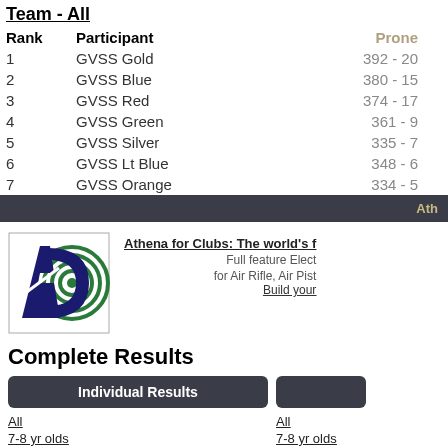Team - All
| Rank | Participant | Prone |
| --- | --- | --- |
| 1 | GVSS Gold | 392 - 20 |
| 2 | GVSS Blue | 380 - 15 |
| 3 | GVSS Red | 374 - 17 |
| 4 | GVSS Green | 361 - 9 |
| 5 | GVSS Silver | 335 - 7 |
| 6 | GVSS Lt Blue | 348 - 6 |
| 7 | GVSS Orange | 334 - 5 |
Ath
[Figure (logo): Athena for Clubs logo with stylized A and target rings]
Athena for Clubs: The world's f
Full feature Elect
for Air Rifle, Air Pist
Build your
Complete Results
Individual Results
All
7-8 yr olds
9 yr olds
10 yr olds
All
7-8 yr olds